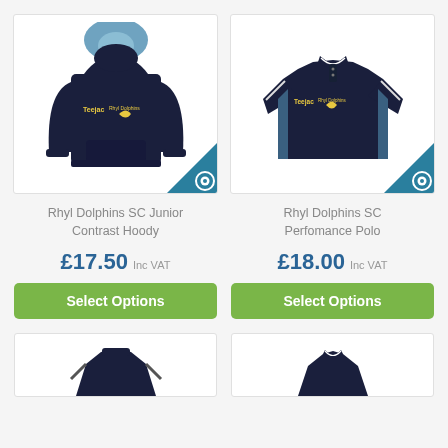[Figure (photo): Navy blue junior contrast hoodie with light blue hood lining, embroidered with Teejac and Rhyl Dolphins SC logos on chest. Teal eye-icon badge in bottom-right corner.]
Rhyl Dolphins SC Junior Contrast Hoody
£17.50 Inc VAT
Select Options
[Figure (photo): Navy blue performance polo shirt with white piping on shoulders and arms, embroidered with Teejac and Rhyl Dolphins SC logos on chest. Teal eye-icon badge in bottom-right corner.]
Rhyl Dolphins SC Perfomance Polo
£18.00 Inc VAT
Select Options
[Figure (photo): Partial view of a navy blue jacket/zip-top at bottom left.]
[Figure (photo): Partial view of a navy blue polo/top at bottom right.]